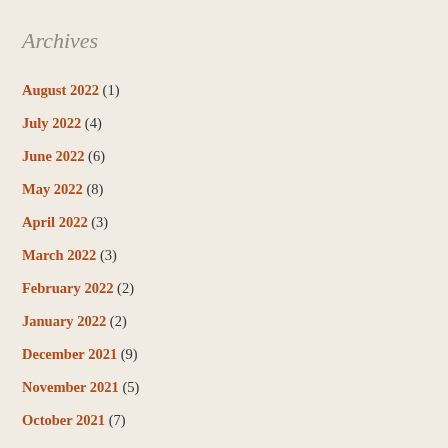Archives
August 2022 (1)
July 2022 (4)
June 2022 (6)
May 2022 (8)
April 2022 (3)
March 2022 (3)
February 2022 (2)
January 2022 (2)
December 2021 (9)
November 2021 (5)
October 2021 (7)
September 2021 (4)